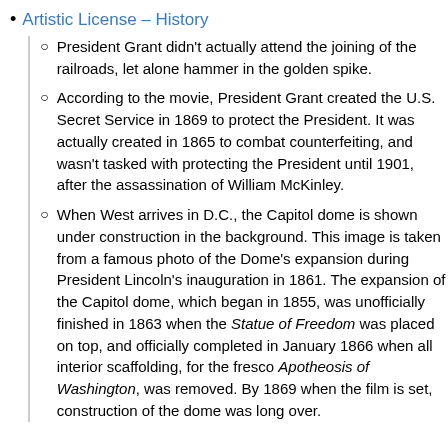Artistic License – History
President Grant didn't actually attend the joining of the railroads, let alone hammer in the golden spike.
According to the movie, President Grant created the U.S. Secret Service in 1869 to protect the President. It was actually created in 1865 to combat counterfeiting, and wasn't tasked with protecting the President until 1901, after the assassination of William McKinley.
When West arrives in D.C., the Capitol dome is shown under construction in the background. This image is taken from a famous photo of the Dome's expansion during President Lincoln's inauguration in 1861. The expansion of the Capitol dome, which began in 1855, was unofficially finished in 1863 when the Statue of Freedom was placed on top, and officially completed in January 1866 when all interior scaffolding, for the fresco Apotheosis of Washington, was removed. By 1869 when the film is set, construction of the dome was long over.